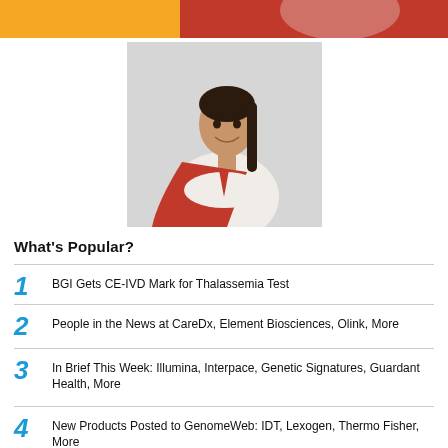[Figure (photo): Top banner with orange and red gradient background, partial figure visible at top]
[Figure (photo): Woman in white shirt and red superhero cape, smiling with arms crossed, on light gray background]
What's Popular?
1 BGI Gets CE-IVD Mark for Thalassemia Test
2 People in the News at CareDx, Element Biosciences, Olink, More
3 In Brief This Week: Illumina, Interpace, Genetic Signatures, Guardant Health, More
4 New Products Posted to GenomeWeb: IDT, Lexogen, Thermo Fisher, More